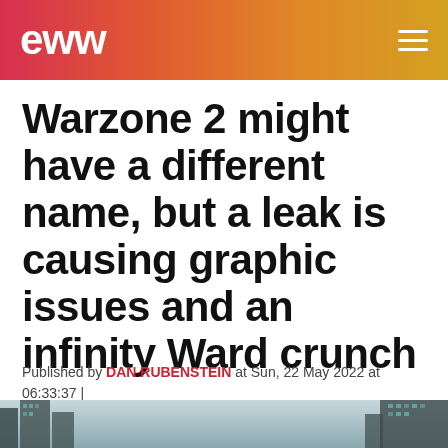EWW
Warzone 2 might have a different name, but a leak is causing graphic issues and an infinity Ward crunch
Published by DAN RUBENSTEIN at Sun, 22 May 2022 at 06:33:37 | Category: GAMES
[Figure (photo): Bottom portion of a cityscape image with buildings visible, dark moody sky]